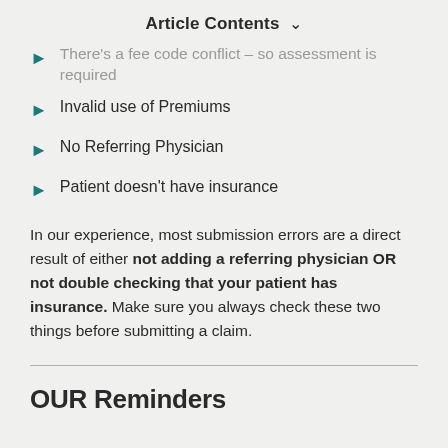Article Contents ∨
There's a fee code conflict – so assessment is required
Invalid use of Premiums
No Referring Physician
Patient doesn't have insurance
In our experience, most submission errors are a direct result of either not adding a referring physician OR not double checking that your patient has insurance. Make sure you always check these two things before submitting a claim.
OUR Reminders